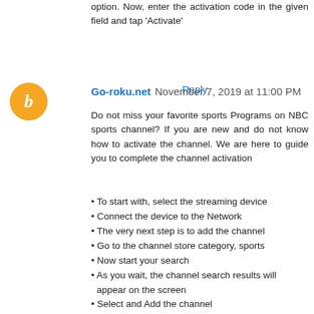option. Now, enter the activation code in the given field and tap 'Activate'
Reply
Go-roku.net  November 7, 2019 at 11:00 PM
Do not miss your favorite sports Programs on NBC sports channel? If you are new and do not know how to activate the channel. We are here to guide you to complete the channel activation
• To start with, select the streaming device
• Connect the device to the Network
• The very next step is to add the channel
• Go to the channel store category, sports
• Now start your search
• As you wait, the channel search results will appear on the screen
• Select and Add the channel
• If you are unable to find the added channel, it's good to perform the system update
• Now go to the channel activation page nbc.com/activate
• Then enter the appropriate activation code